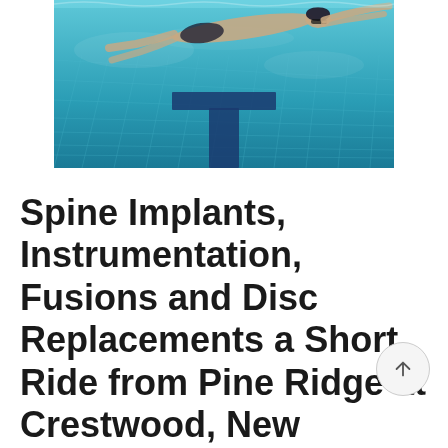[Figure (photo): Underwater photograph of a swimmer in a pool, viewed from below. The pool lane markings are visible — a dark T-shape on the pool floor. The water is bright blue with a tiled bottom.]
Spine Implants, Instrumentation, Fusions and Disc Replacements a Short Ride from Pine Ridge at Crestwood, New Jersey: